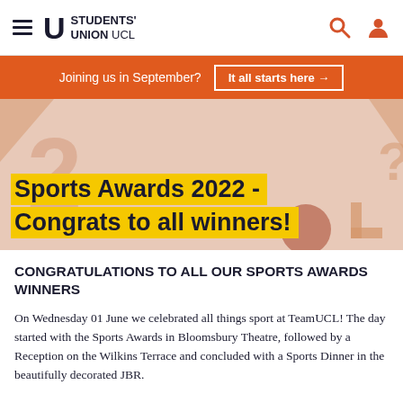Students' Union UCL
Joining us in September? It all starts here →
Sports Awards 2022 - Congrats to all winners!
CONGRATULATIONS TO ALL OUR SPORTS AWARDS WINNERS
On Wednesday 01 June we celebrated all things sport at TeamUCL! The day started with the Sports Awards in Bloomsbury Theatre, followed by a Reception on the Wilkins Terrace and concluded with a Sports Dinner in the beautifully decorated JBR.